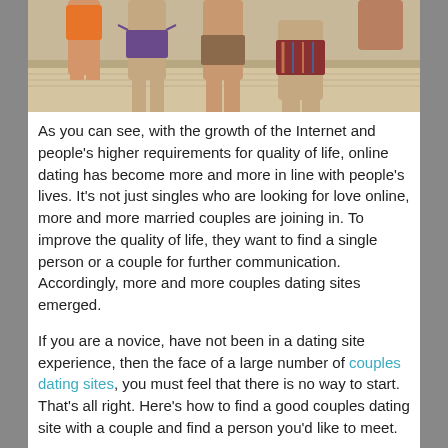[Figure (photo): People in swimwear standing on a beach boardwalk, cropped to show lower bodies]
As you can see, with the growth of the Internet and people's higher requirements for quality of life, online dating has become more and more in line with people's lives. It's not just singles who are looking for love online, more and more married couples are joining in. To improve the quality of life, they want to find a single person or a couple for further communication. Accordingly, more and more couples dating sites emerged.
If you are a novice, have not been in a dating site experience, then the face of a large number of couples dating sites, you must feel that there is no way to start. That's all right. Here's how to find a good couples dating site with a couple and find a person you'd like to meet.
First, you need to select a good couples dating site. A good couples dating site not only means you are more likely to get a date, but it also means you are less likely to encounter a liar. A